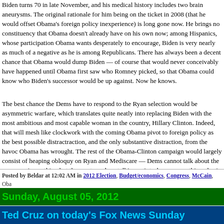Biden turns 70 in late November, and his medical history includes two brain aneurysms. The original rationale for him being on the ticket in 2008 (that he would offset Obama's foreign policy inexperience) is long gone now. He brings no constituency that Obama doesn't already have on his own now; among Hispanics, whose participation Obama wants desperately to encourage, Biden is very nearly as much of a negative as he is among Republicans. There has always been a decent chance that Obama would dump Biden — of course that would never conceivably have happened until Obama first saw who Romney picked, so that Obama could know who Biden's successor would be up against. Now he knows.
The best chance the Dems have to respond to the Ryan selection would be asymmetric warfare, which translates quite neatly into replacing Biden with the most ambitious and most capable woman in the country, Hillary Clinton. Indeed, that will mesh like clockwork with the coming Obama pivot to foreign policy as the best possible distractraction, and the only substantive distraction, from the havoc Obama has wrought. The rest of the Obama-Clinton campaign would largely consist of heaping obloquy on Ryan and Mediscare — Dems cannot talk about the economy in anything but the most anodyne talking points, because anything else is poison to Obama's campaign — but SecState Clinton, along with a newly energized Bubba, would surely be employed to highlight the relative lack of foreign policy credentials on the part of both Romney and Ryan.
Posted by Beldar at 12:02 AM in 2012 Election, Budget/economics, Congress, McCain, Obama, Romney, Ryan | Permalink | Comments (5) | TrackBack
Sunday, August 05, 2012
Ted Cruz on today's Fox News Sunday